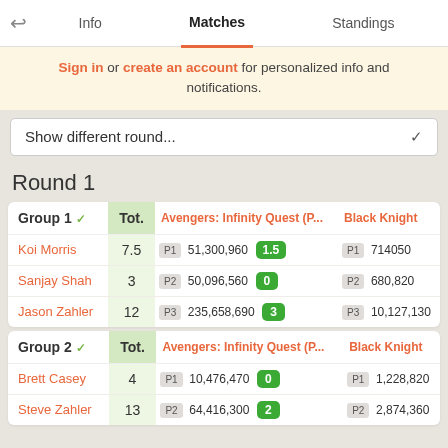Info | Matches | Standings
Sign in or create an account for personalized info and notifications.
Show different round...
Round 1
| Group 1 | Tot. | Avengers: Infinity Quest (P... | Black Knight |
| --- | --- | --- | --- |
| Koi Morris | 7.5 | P1 51,300,960 1.5 | P1 714050 |
| Sanjay Shah | 3 | P2 50,096,560 0 | P2 680,820 |
| Jason Zahler | 12 | P3 235,658,690 3 | P3 10,127,130 |
| Group 2 | Tot. | Avengers: Infinity Quest (P... | Black Knight |
| --- | --- | --- | --- |
| Brett Casey | 4 | P1 10,476,470 0 | P1 1,228,820 |
| Steve Zahler | 13 | P2 64,416,300 2 | P2 2,874,360 |